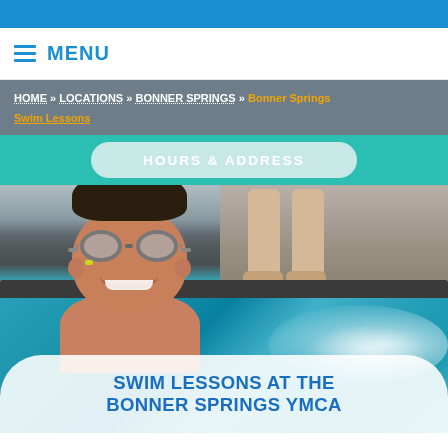MENU
HOME » LOCATIONS » BONNER SPRINGS » Bonner Springs Swim Lessons
HOURS & ADDRESS
[Figure (photo): A smiling young boy wearing swim goggles in a swimming pool, with an adult's legs visible in the background standing near the pool edge.]
SWIM LESSONS AT THE BONNER SPRINGS YMCA